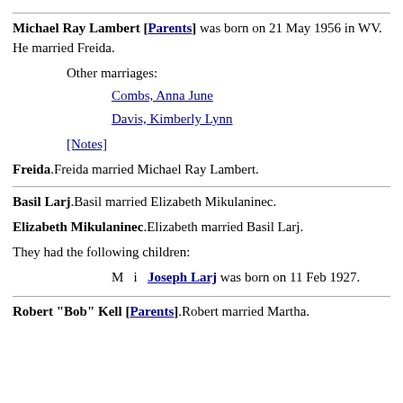Michael Ray Lambert [Parents] was born on 21 May 1956 in WV. He married Freida.
Other marriages:
Combs, Anna June
Davis, Kimberly Lynn
[Notes]
Freida. Freida married Michael Ray Lambert.
Basil Larj. Basil married Elizabeth Mikulaninec.
Elizabeth Mikulaninec. Elizabeth married Basil Larj.
They had the following children:
M  i  Joseph Larj was born on 11 Feb 1927.
Robert "Bob" Kell [Parents]. Robert married Martha.